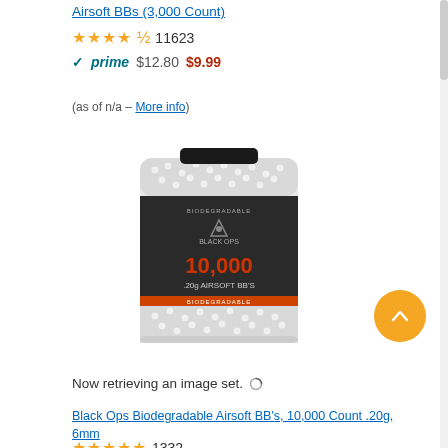Airsoft BBs (3,000 Count)
★★★★½ 11623
✓prime $12.80 $9.99
(as of n/a – More info)
[Figure (photo): Black Ops Biodegradable Airsoft BB container, black cylindrical jar with dark label showing 10,000 .20g Airsoft BBs, white BBs visible around edges]
Now retrieving an image set.
Black Ops Biodegradable Airsoft BB's, 10,000 Count .20g, 6mm
★★★★★ 1332